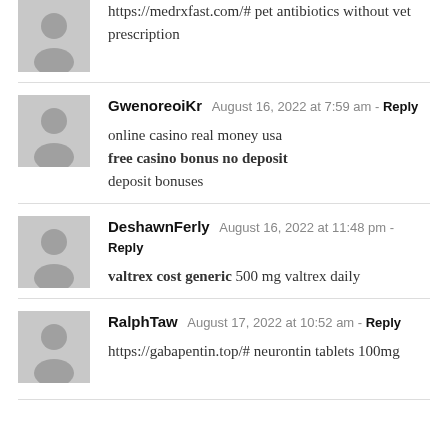https://medrxfast.com/# pet antibiotics without vet prescription
GwenoreoiKr  August 16, 2022 at 7:59 am - Reply
online casino real money usa
free casino bonus no deposit
deposit bonuses
DeshawnFerly  August 16, 2022 at 11:48 pm - Reply
valtrex cost generic 500 mg valtrex daily
RalphTaw  August 17, 2022 at 10:52 am - Reply
https://gabapentin.top/# neurontin tablets 100mg